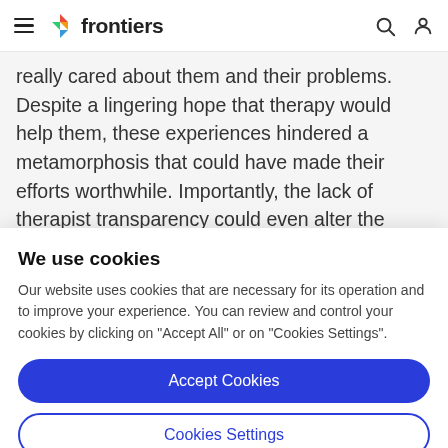frontiers
really cared about them and their problems. Despite a lingering hope that therapy would help them, these experiences hindered a metamorphosis that could have made their efforts worthwhile. Importantly, the lack of therapist transparency could even alter the entire
We use cookies
Our website uses cookies that are necessary for its operation and to improve your experience. You can review and control your cookies by clicking on "Accept All" or on "Cookies Settings".
Accept Cookies
Cookies Settings